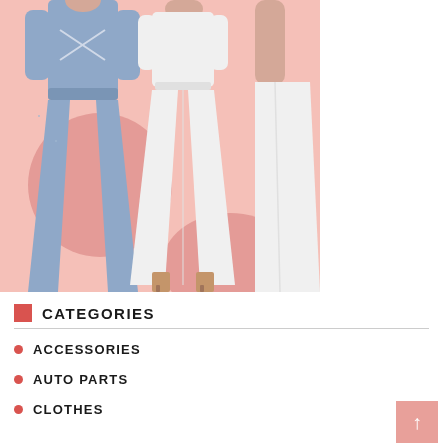[Figure (photo): Fashion photo collage showing three figures: a woman in a blue wide-leg jumpsuit on the left, a woman in a white wide-leg outfit in the center (full body visible with heeled sandals), and a partial view of a woman in a white flowing skirt on the right. Background is light pink/salmon with two circular coral-pink decorative circles.]
CATEGORIES
ACCESSORIES
AUTO PARTS
CLOTHES